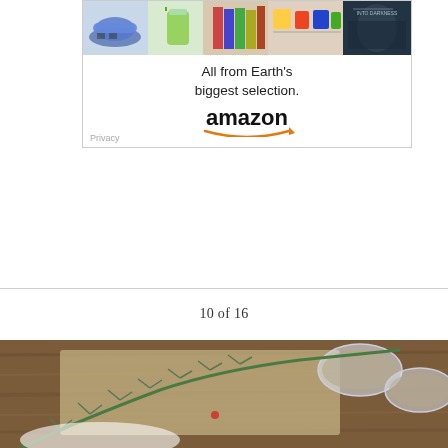[Figure (photo): Amazon advertisement showing products (shoes, drink, books, merchandise, movie poster) at the top, with text 'All from Earth's biggest selection.' and the Amazon logo with arrow below. Privacy label in lower left.]
10 of 16
[Figure (photo): Photo of rosemary sprigs and spices in glass bowls on a rustic wooden surface with burlap fabric.]